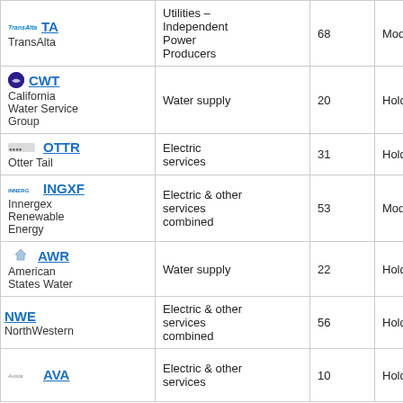| Company | Sector | Value | Rating |
| --- | --- | --- | --- |
| TA / TransAlta | Utilities – Independent Power Producers | 68 | Moderate |
| CWT / California Water Service Group | Water supply | 20 | Hold |
| OTTR / Otter Tail | Electric services | 31 | Hold |
| INGXF / Innergex Renewable Energy | Electric & other services combined | 53 | Moderate |
| AWR / American States Water | Water supply | 22 | Hold |
| NWE / NorthWestern | Electric & other services combined | 56 | Hold |
| AVA / ... | Electric & other services... | 10 | Hold |